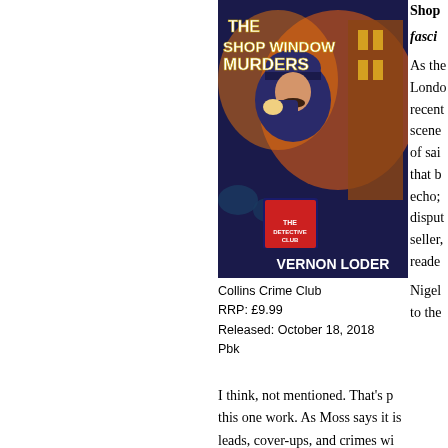[Figure (illustration): Book cover of 'The Shop Window Murders' by Vernon Loder, published by Collins Crime Club. Illustration shows a police officer in uniform with a magnifying glass against a dramatic city background.]
Collins Crime Club
RRP: £9.99
Released: October 18, 2018
Pbk
Shop [window murders — a] fasci[nating read]

As the [story is set in] Londo[n, and] recent[ly] scene [of one] of sai[d murders,] that b[eing an] echo; [the] disput[ed best-] seller, [it's a good] reade[r...]

Nigel [... refers] to the [...]
I think, not mentioned. That's p[...] this one work. As Moss says it is[...] leads, cover-ups, and crimes wi[...]